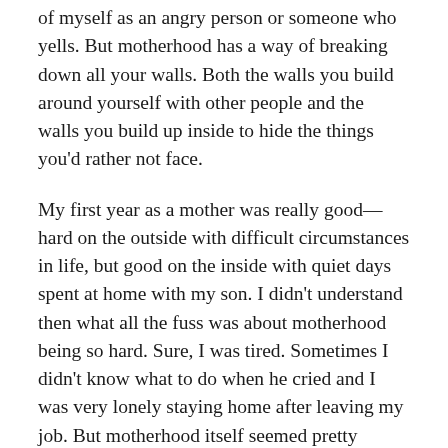of myself as an angry person or someone who yells. But motherhood has a way of breaking down all your walls. Both the walls you build around yourself with other people and the walls you build up inside to hide the things you’d rather not face.
My first year as a mother was really good—hard on the outside with difficult circumstances in life, but good on the inside with quiet days spent at home with my son. I didn’t understand then what all the fuss was about motherhood being so hard. Sure, I was tired. Sometimes I didn’t know what to do when he cried and I was very lonely staying home after leaving my job. But motherhood itself seemed pretty magical. I spent that first year with my son almost constantly in my arms or asleep on my chest and I loved it.